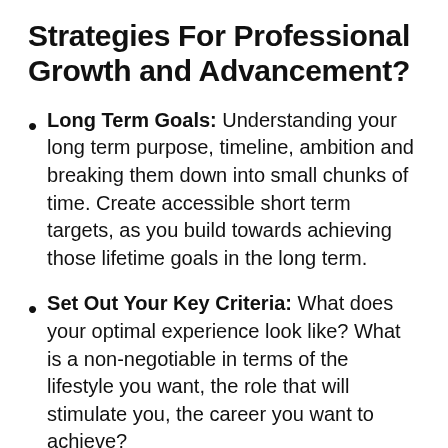Strategies For Professional Growth and Advancement?
Long Term Goals: Understanding your long term purpose, timeline, ambition and breaking them down into small chunks of time. Create accessible short term targets, as you build towards achieving those lifetime goals in the long term.
Set Out Your Key Criteria: What does your optimal experience look like? What is a non-negotiable in terms of the lifestyle you want, the role that will stimulate you, the career you want to achieve?
Build Experience and Reputation: Much